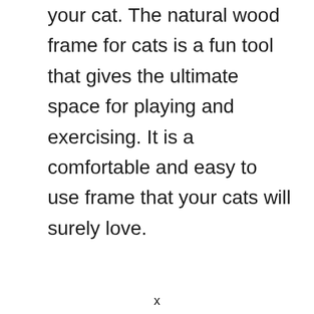your cat. The natural wood frame for cats is a fun tool that gives the ultimate space for playing and exercising. It is a comfortable and easy to use frame that your cats will surely love.
x